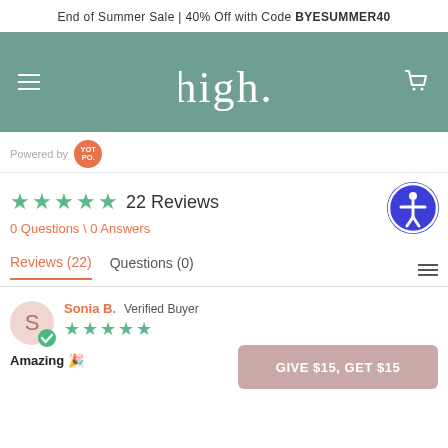End of Summer Sale | 40% Off with Code BYESUMMER40
[Figure (logo): high. brand logo in white text on teal/green background with hamburger menu icon and cart icon]
Powered by YOTPO
22 Reviews
0 Questions \ 0 Answers
Reviews (22)   Questions (0)
Sonia B.  Verified Buyer
Amazing 🎉